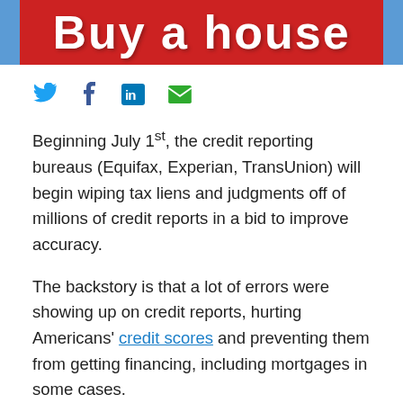[Figure (photo): Banner image with blue background and a red rectangle containing bold white text reading 'Buy a house']
[Figure (infographic): Social sharing icons: Twitter bird (blue), Facebook f (dark blue), LinkedIn 'in' (blue), Email envelope (green)]
Beginning July 1st, the credit reporting bureaus (Equifax, Experian, TransUnion) will begin wiping tax liens and judgments off of millions of credit reports in a bid to improve accuracy.
The backstory is that a lot of errors were showing up on credit reports, hurting Americans' credit scores and preventing them from getting financing, including mortgages in some cases.
As a result of this less-than-stellar data collection, the